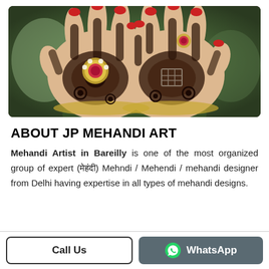[Figure (photo): Photograph of two hands (palms facing up) decorated with intricate mehndi/henna designs in dark reddish-brown. The hands are adorned with gold and jeweled ornaments in the center. Fingers have red nail polish. Background is blurred green and gold tones.]
ABOUT JP MEHANDI ART
Mehandi Artist in Bareilly is one of the most organized group of expert (मेहंदी) Mehndi / Mehendi / mehandi designer from Delhi having expertise in all types of mehandi designs.
Call Us
WhatsApp